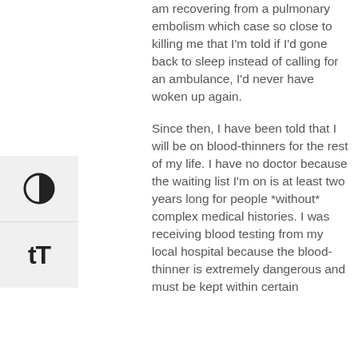[Figure (other): UI accessibility buttons: a contrast toggle button (half-filled circle icon) and a text size toggle button (tT icon), stacked vertically on the left side of the page]
am recovering from a pulmonary embolism which case so close to killing me that I'm told if I'd gone back to sleep instead of calling for an ambulance, I'd never have woken up again.
Since then, I have been told that I will be on blood-thinners for the rest of my life. I have no doctor because the waiting list I'm on is at least two years long for people *without* complex medical histories. I was receiving blood testing from my local hospital because the blood-thinner is extremely dangerous and must be kept within certain